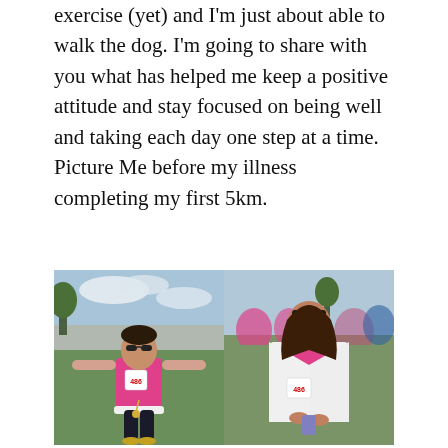exercise (yet) and I'm just about able to walk the dog. I'm going to share with you what has helped me keep a positive attitude and stay focused on being well and taking each day one step at a time. Picture Me before my illness completing my first 5km.
[Figure (photo): Two side-by-side photographs of a woman in a pink racing vest with bib number 486. Left photo shows her standing on grass with arms outstretched and sunglasses, celebrating after a 5km race. Right photo shows her looking down at her medal/timing chip, wearing a white jacket over the pink vest, also at the race finish area.]